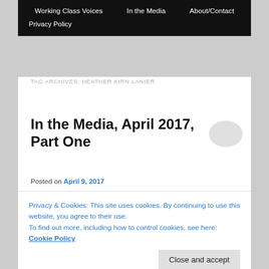Working Class Voices  In the Media  About/Contact  Privacy Policy
TAG ARCHIVES: HEATHER KIRN LANIER
In the Media, April 2017, Part One
Posted on April 9, 2017
In the media is a fortnightly round-up of features written by, about or containing female writers that have appeared
Privacy & Cookies: This site uses cookies. By continuing to use this website, you agree to their use.
To find out more, including how to control cookies, see here: Cookie Policy
likely and the categories used are a guide, not definitives.